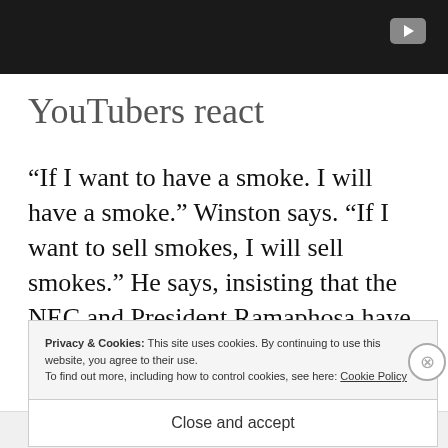[Figure (screenshot): Dark video thumbnail with YouTube play button icon in top-right corner]
YouTubers react
“If I want to have a smoke. I will have a smoke.” Winston says. “If I want to sell smokes, I will sell smokes.” He says, insisting that the NEC and President Ramaphosa have taken away his human rights.
Privacy & Cookies: This site uses cookies. By continuing to use this website, you agree to their use.
To find out more, including how to control cookies, see here: Cookie Policy
Close and accept